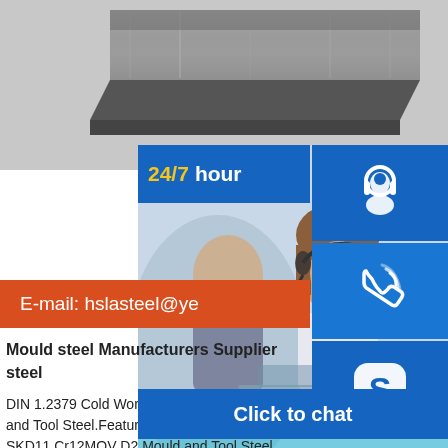[Figure (photo): Steel plate / mould steel product image, dark grey metallic finish, viewed from above at slight angle]
E-mail: hslasteel@ye
Mould steel Manufacturers Supplier steel
DIN 1.2379 Cold Work Die Steel SKD1 Mould and Tool Steel.Featured Produ Work Die Steel SKD11 Cr12MOV D2 Mould and Tool Steel ASTM A681 H21,Mould Steel Plate,Tool Steels Alloy.ASTM A681 H21,Mould Steel Plate,Tool Steels Alloy1 2379 Alloy Steel Forging Provider - S355j2 Steel PlatesAlloy Steel,Steel Products,Mould Steel manufacturer / supplier in China,offering S7 1.2355 Die
[Figure (photo): Customer service representatives smiling, wearing headsets]
[Figure (infographic): 24/7 hour support banner with blue background and customer service icons (headset person, phone, Skype) and Click to chat button]